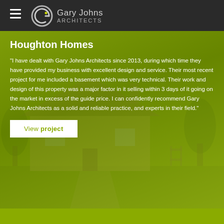Gary Johns Architects
Houghton Homes
"I have dealt with Gary Johns Architects since 2013, during which time they have provided my business with excellent design and service. Their most recent project for me included a basement which was very technical. Their work and design of this property was a major factor in it selling within 3 days of it going on the market in excess of the guide price. I can confidently recommend Gary Johns Architects as a solid and reliable practice, and experts in their field."
View project